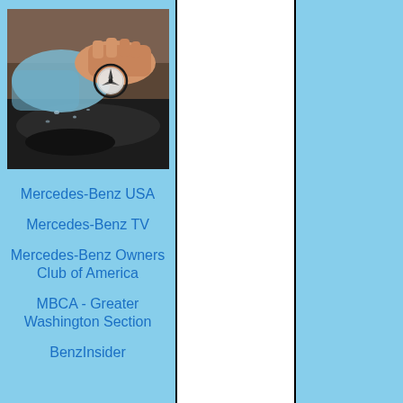[Figure (photo): A hand holding a blue microfiber cloth polishing the hood of a dark Mercedes-Benz car, with the three-pointed star logo visible]
Mercedes-Benz USA
Mercedes-Benz TV
Mercedes-Benz Owners Club of America
MBCA - Greater Washington Section
BenzInsider